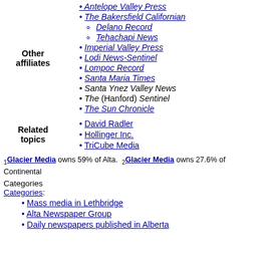|  |  |
| --- | --- |
| Other affiliates | Antelope Valley Press, The Bakersfield Californian (Delano Record, Tehachapi News), Imperial Valley Press, Lodi News-Sentinel, Lompoc Record, Santa Maria Times, Santa Ynez Valley News, The (Hanford) Sentinel, The Sun Chronicle |
| Related topics | David Radler, Hollinger Inc., TriCube Media |
1 Glacier Media owns 59% of Alta. 2 Glacier Media owns 27.6% of Continental
Categories
Categories:
Mass media in Lethbridge
Alta Newspaper Group
Daily newspapers published in Alberta